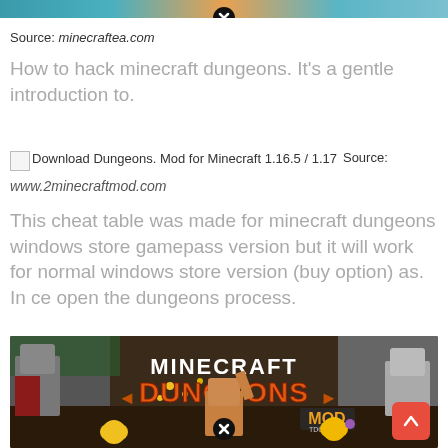[Figure (photo): Colorful image strip at top of page]
Source: minecraftea.com
How to hack minecraft dungeons. It's a gentle introduction to.
[Figure (photo): Broken image icon with alt text: Download Dungeons. Mod for Minecraft 1.16.5 / 1.17]
Source: www.2minecraftmod.com
This cheat table was made for minecraft dungeons windows store gamepass version but it will work for normal windows store version (buy option) as. In ce open the dungeons process.
[Figure (photo): Minecraft Dungeons MOD promotional image showing game characters, MOD logo, with close button overlaid at bottom]